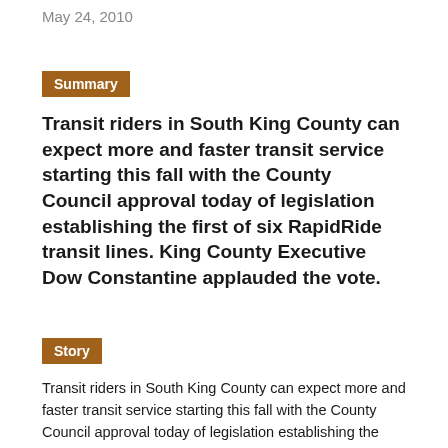May 24, 2010
Summary
Transit riders in South King County can expect more and faster transit service starting this fall with the County Council approval today of legislation establishing the first of six RapidRide transit lines. King County Executive Dow Constantine applauded the vote.
Story
Transit riders in South King County can expect more and faster transit service starting this fall with the County Council approval today of legislation establishing the first of six RapidRide transit lines. King County Executive Dow Constantine applauded the vote.